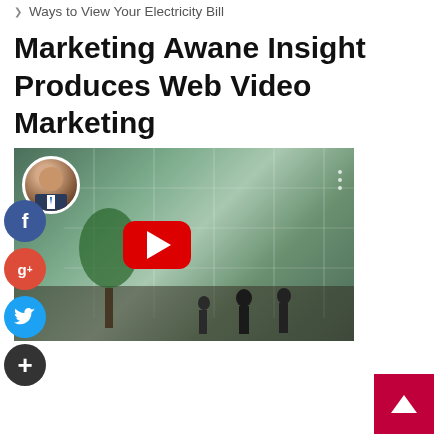Ways to View Your Electricity Bill
Marketing Awane Insight Produces Web Video Marketing
[Figure (screenshot): YouTube video thumbnail showing a glass building facade with people silhouettes, a YouTube play button overlay, and a circular avatar photo of a man in the top-left corner]
Archives
August 2022
July 2022